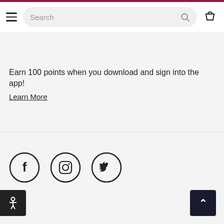Search navigation header with hamburger menu, search bar, and cart icon
Earn 100 points when you download and sign into the app! Learn More
[Figure (other): Social media icons: Facebook, Instagram, Twitter in circular outlines]
[Figure (other): Back to top arrow button (dark background, white caret up symbol)]
[Figure (other): Accessibility button (dark background, person icon)]